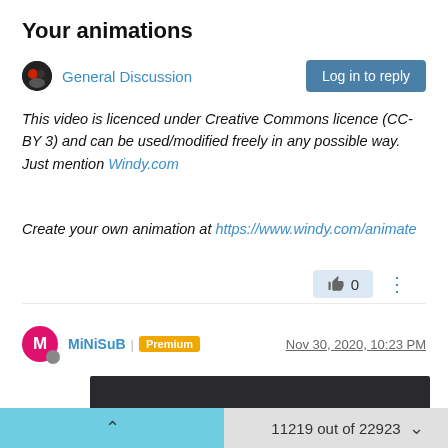Your animations
General Discussion
This video is licenced under Creative Commons licence (CC-BY 3) and can be used/modified freely in any possible way. Just mention Windy.com
Create your own animation at https://www.windy.com/animate
MiNiSuB | Premium   Nov 30, 2020, 10:23 PM
[Figure (screenshot): Embedded video player with dark background showing 0:00 timestamp and playback controls]
11219 out of 22923